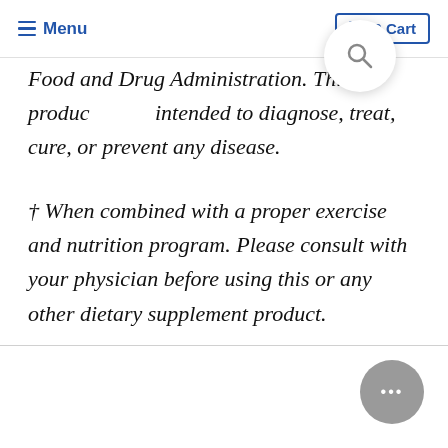≡ Menu   🛒 0 Cart
Food and Drug Administration. This product is not intended to diagnose, treat, cure, or prevent any disease.
† When combined with a proper exercise and nutrition program. Please consult with your physician before using this or any other dietary supplement product.